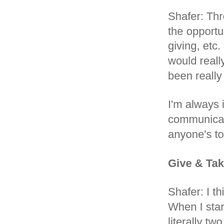Shafer: Through the opportunity t giving, etc. Quite would really enjo been really rewa
I'm always intrig communicating w anyone's toes he
Give & Take: Wha
Shafer: I think on When I started w literally two mon
I think the other t